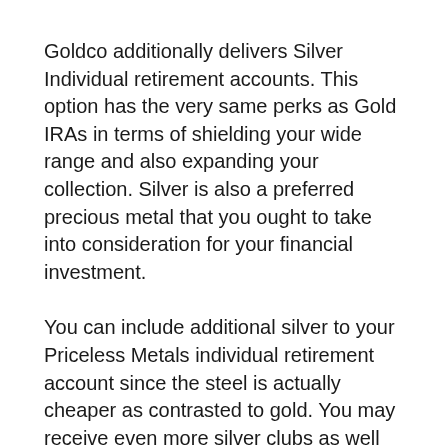Goldco additionally delivers Silver Individual retirement accounts. This option has the very same perks as Gold IRAs in terms of shielding your wide range and also expanding your collection. Silver is also a preferred precious metal that you ought to take into consideration for your financial investment.
You can include additional silver to your Priceless Metals individual retirement account since the steel is actually cheaper as contrasted to gold. You may receive even more silver clubs as well as pieces for the same rate.
IRS laws dictate that for silver to be